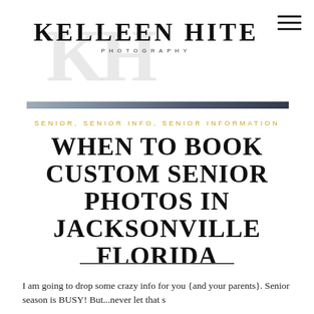[Figure (logo): Kelleen Hite Photography logo with watermark KH letters in gray and bold serif text saying KELLEEN HITE with PHOTOGRAPHY below in spaced caps]
[Figure (photo): Partial photo strip showing two people at top, cropped with rounded top]
SENIOR, SENIOR INFO, SENIOR INFORMATION
WHEN TO BOOK CUSTOM SENIOR PHOTOS IN JACKSONVILLE FLORIDA
I am going to drop some crazy info for you {and your parents}. Senior season is BUSY! But...never let that s